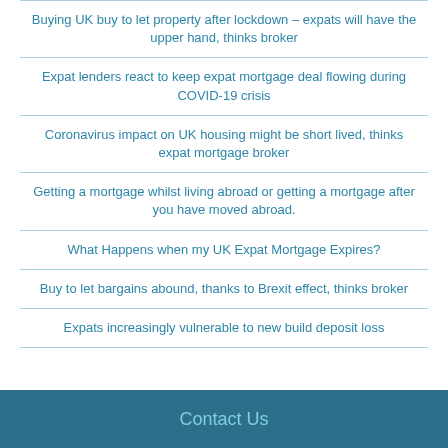Buying UK buy to let property after lockdown – expats will have the upper hand, thinks broker
Expat lenders react to keep expat mortgage deal flowing during COVID-19 crisis
Coronavirus impact on UK housing might be short lived, thinks expat mortgage broker
Getting a mortgage whilst living abroad or getting a mortgage after you have moved abroad.
What Happens when my UK Expat Mortgage Expires?
Buy to let bargains abound, thanks to Brexit effect, thinks broker
Expats increasingly vulnerable to new build deposit loss
Contact Us